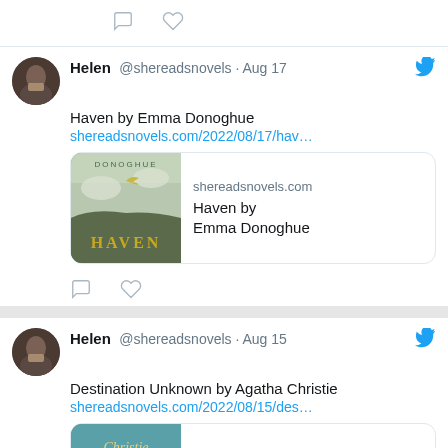[Figure (screenshot): Partial top of a tweet showing comment and heart icons]
Helen @shereadsnovels · Aug 17
Haven by Emma Donoghue
shereadsnovels.com/2022/08/17/hav…
[Figure (screenshot): Link preview card with Haven book cover and shereadsnovels.com, Haven by Emma Donoghue]
Helen @shereadsnovels · Aug 15
Destination Unknown by Agatha Christie
shereadsnovels.com/2022/08/15/des…
[Figure (screenshot): Link preview card with Destination Unknown by Agatha Christie book cover and shereadsnovels.com]